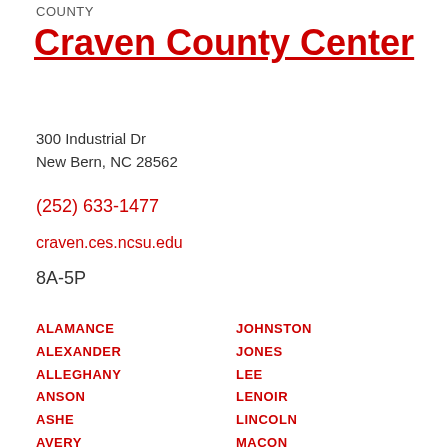COUNTY
Craven County Center
300 Industrial Dr
New Bern, NC 28562
(252) 633-1477
craven.ces.ncsu.edu
8A-5P
ALAMANCE
ALEXANDER
ALLEGHANY
ANSON
ASHE
AVERY
BEAUFORT
BERTIE
BLADEN
BRUNSWICK
JOHNSTON
JONES
LEE
LENOIR
LINCOLN
MACON
MADISON
MARTIN
MCDOWELL
MECKLENBURG